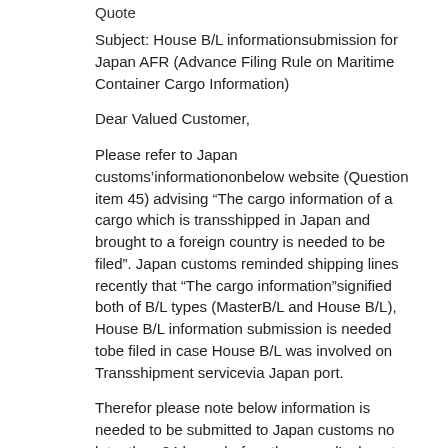Quote
Subject: House B/L informationsubmission for Japan AFR (Advance Filing Rule on Maritime Container Cargo Information)
Dear Valued Customer,
Please refer to Japan customs'informationonbelow website (Question item 45) advising “The cargo information of a cargo which is transshipped in Japan and brought to a foreign country is needed to be filed”. Japan customs reminded shipping lines recently that “The cargo information”signified both of B/L types (MasterB/L and House B/L), House B/L information submission is needed tobe filed in case House B/L was involved on Transshipment servicevia Japan port.
Therefor please note below information is needed to be submitted to Japan customs no later than 24 hours before the vessel’s departure time at origin port.